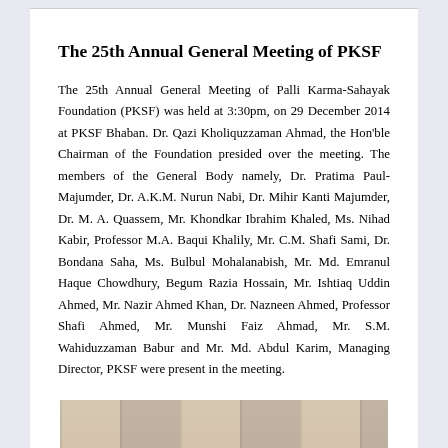The 25th Annual General Meeting of PKSF
The 25th Annual General Meeting of Palli Karma-Sahayak Foundation (PKSF) was held at 3:30pm, on 29 December 2014 at PKSF Bhaban. Dr. Qazi Kholiquzzaman Ahmad, the Hon'ble Chairman of the Foundation presided over the meeting. The members of the General Body namely, Dr. Pratima Paul-Majumder, Dr. A.K.M. Nurun Nabi, Dr. Mihir Kanti Majumder, Dr. M. A. Quassem, Mr. Khondkar Ibrahim Khaled, Ms. Nihad Kabir, Professor M.A. Baqui Khalily, Mr. C.M. Shafi Sami, Dr. Bondana Saha, Ms. Bulbul Mohalanabish, Mr. Md. Emranul Haque Chowdhury, Begum Razia Hossain, Mr. Ishtiaq Uddin Ahmed, Mr. Nazir Ahmed Khan, Dr. Nazneen Ahmed, Professor Shafi Ahmed, Mr. Munshi Faiz Ahmad, Mr. S.M. Wahiduzzaman Babur and Mr. Md. Abdul Karim, Managing Director, PKSF were present in the meeting.
[Figure (photo): Partial view of a photograph showing people at the meeting, cut off at the bottom of the page.]